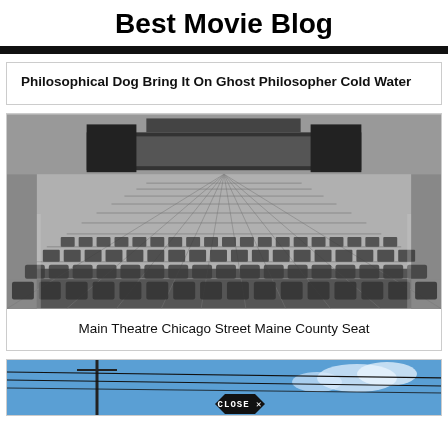Best Movie Blog
[Figure (photo): Black and white photograph of an empty movie theatre showing rows of seats from the audience perspective toward the stage/screen area]
Main Theatre Chicago Street Maine County Seat
[Figure (photo): Partial view of a blue sky with utility poles/wires visible; a dark hexagonal CLOSE X button overlay is visible at the bottom center]